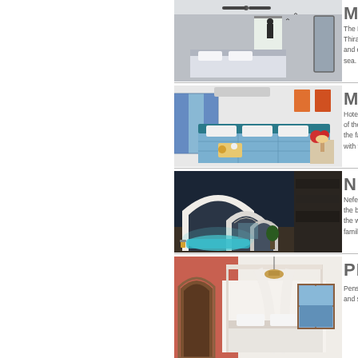[Figure (photo): Modern white hotel room with ceiling fan, bed with white linens, silhouette of person near door, mirror on right]
MAJE
The Maje Thira, sta and eleg sea. Mod
[Figure (photo): Bright hotel room with blue patterned bedspread, teal headboard, sea view through curtained window, flowers on nightstand]
MELI
Hotel Me of the isl the facili with the
[Figure (photo): Cave-style Santorini architecture with white arched corridors, illuminated pool at night, dark stone walls]
NEFE
Nefeles S the blue the worl family, re
[Figure (photo): Bright coral/orange and white room with canopy bed, wooden door, window with sea view]
PENS
Pension h and spac